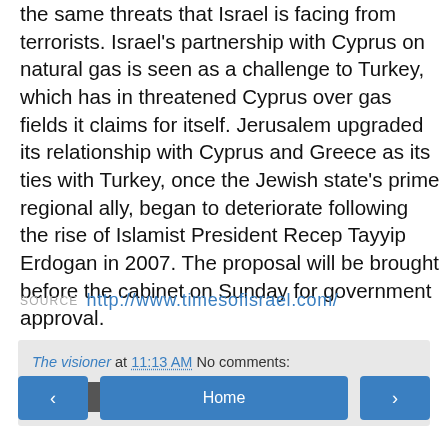the same threats that Israel is facing from terrorists. Israel's partnership with Cyprus on natural gas is seen as a challenge to Turkey, which has in threatened Cyprus over gas fields it claims for itself. Jerusalem upgraded its relationship with Cyprus and Greece as its ties with Turkey, once the Jewish state's prime regional ally, began to deteriorate following the rise of Islamist President Recep Tayyip Erdogan in 2007. The proposal will be brought before the cabinet on Sunday for government approval.
SOURCE http://www.timesofisrael.com/
The visioner at 11:13 AM   No comments:
Share
‹   Home   ›